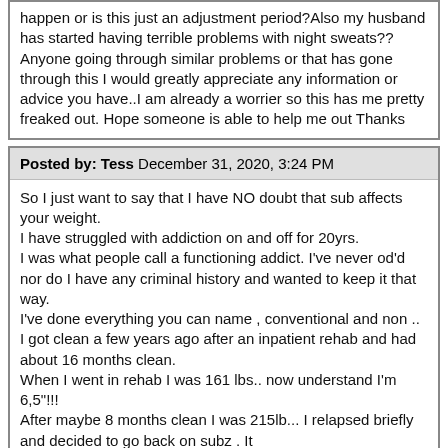happen or is this just an adjustment period?Also my husband has started having terrible problems with night sweats??Anyone going through similar problems or that has gone through this I would greatly appreciate any information or advice you have..I am already a worrier so this has me pretty freaked out. Hope someone is able to help me out Thanks
Posted by: Tess December 31, 2020, 3:24 PM
So I just want to say that I have NO doubt that sub affects your weight.
I have struggled with addiction on and off for 20yrs.
I was what people call a functioning addict. I've never od'd nor do I have any criminal history and wanted to keep it that way.
I've done everything you can name , conventional and non ..
I got clean a few years ago after an inpatient rehab and had about 16 months clean.
When I went in rehab I was 161 lbs.. now understand I'm 6,5"!!!
After maybe 8 months clean I was 215lb... I relapsed briefly and decided to go back on subz . It